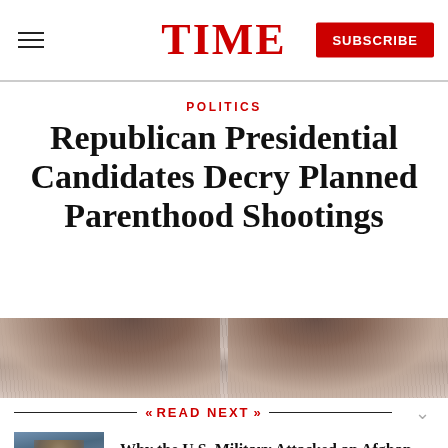TIME
POLITICS
Republican Presidential Candidates Decry Planned Parenthood Shootings
[Figure (photo): Close-up photo showing tops of heads with dark hair against a light background]
READ NEXT
[Figure (photo): Thumbnail photo of a military officer or soldier in uniform]
Why the U.S. Military Attacked an Afghan Hospital